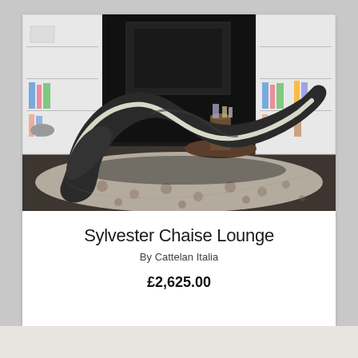[Figure (photo): A modern S-shaped chaise lounge chair with dark brown leather and white side trim, photographed in a contemporary living room setting with white modular shelving units, a dark wood side table, and a decorative patterned rug.]
Sylvester Chaise Lounge
By Cattelan Italia
£2,625.00